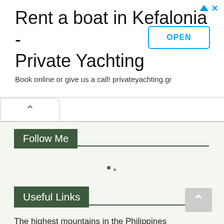Rent a boat in Kefalonia - Private Yachting
Book online or give us a call! privateyachting.gr
Follow Me
[Figure (other): Loading spinner with two dots]
Useful Links
The highest mountains in the Philippines
Camping and Climbing Checklist